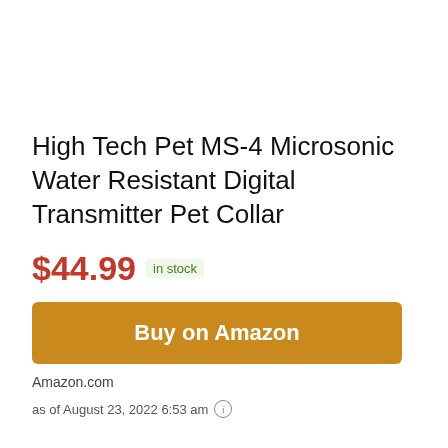High Tech Pet MS-4 Microsonic Water Resistant Digital Transmitter Pet Collar
$44.99 in stock
Buy on Amazon
Amazon.com
as of August 23, 2022 6:53 am